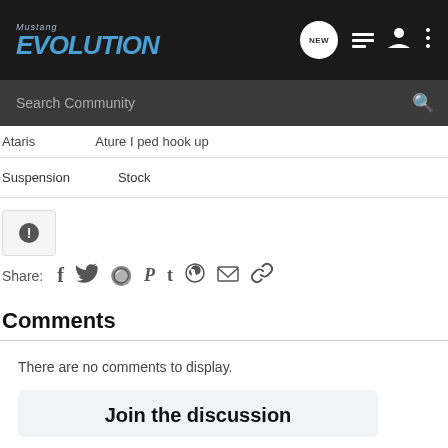Mustang Evolution
Search Community
Ataris   Ature I ped hook up
Suspension   Stock
[Figure (screenshot): Alert/warning icon button]
Share:
Comments
There are no comments to display.
Join the discussion